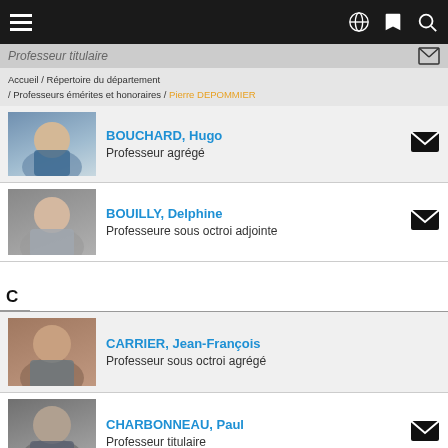Navigation menu with hamburger, globe, bookmark, search icons
Professeur titulaire
Accueil / Répertoire du département / Professeurs émérites et honoraires / Pierre DEPOMMIER
BOUCHARD, Hugo — Professeur agrégé
BOUILLY, Delphine — Professeure sous octroi adjointe
C
CARRIER, Jean-François — Professeur sous octroi agrégé
CHARBONNEAU, Paul — Professeur titulaire
CÔTÉ, Michel — Professeur titulaire